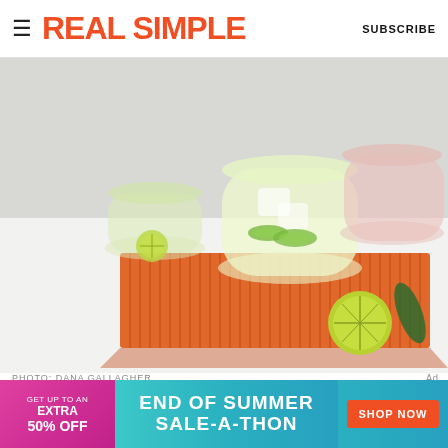REAL SIMPLE | SUBSCRIBE
[Figure (photo): Cocktail drinks with cucumber and lime slices on an orange ridged tray on a white linen surface. Multiple stemless glasses with citrus garnishes visible.]
PHOTO: DANA GALLAGHER
[Figure (infographic): Advertisement banner: Get up to an EXTRA 50% OFF | END OF SUMMER SALE-A-THON | SHOP NOW]